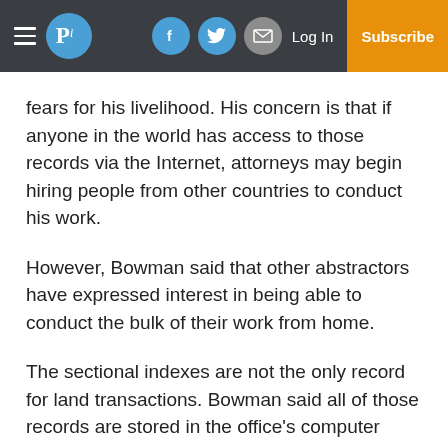Pi logo | Facebook | Twitter | Email | Log In | Subscribe
fears for his livelihood. His concern is that if anyone in the world has access to those records via the Internet, attorneys may begin hiring people from other countries to conduct his work.
However, Bowman said that other abstractors have expressed interest in being able to conduct the bulk of their work from home.
The sectional indexes are not the only record for land transactions. Bowman said all of those records are stored in the office’s computer database. In fact, those records are first stored in the computer